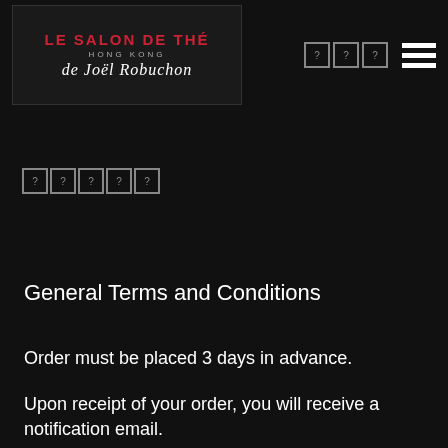[Figure (logo): Le Salon de Thé Hong Kong de Joël Robuchon logo on dark background]
????? (unknown characters in boxes)
General Terms and Conditions
Order must be placed 3 days in advance.
Upon receipt of your order, you will receive a notification email.
Order is confirmed only when you receive a confirmation email or phone call from us.